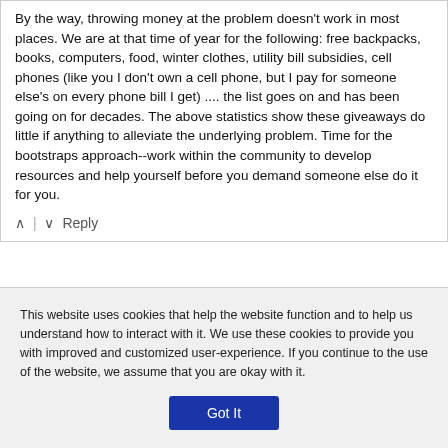By the way, throwing money at the problem doesn't work in most places. We are at that time of year for the following: free backpacks, books, computers, food, winter clothes, utility bill subsidies, cell phones (like you I don't own a cell phone, but I pay for someone else's on every phone bill I get) .... the list goes on and has been going on for decades. The above statistics show these giveaways do little if anything to alleviate the underlying problem. Time for the bootstraps approach--work within the community to develop resources and help yourself before you demand someone else do it for you.
Abdul Hameed
This website uses cookies that help the website function and to help us understand how to interact with it. We use these cookies to provide you with improved and customized user-experience. If you continue to the use of the website, we assume that you are okay with it.